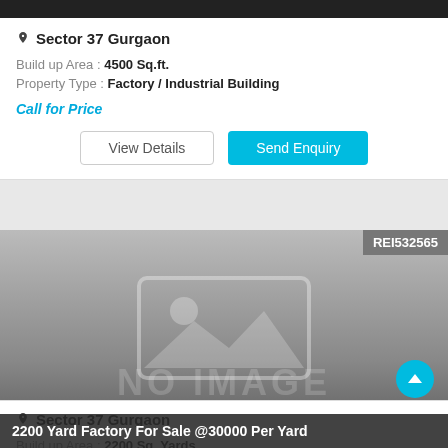Sector 37 Gurgaon
Build up Area : 4500 Sq.ft.
Property Type : Factory / Industrial Building
Call for Price
[Figure (screenshot): Property listing image placeholder with NO IMAGE text and title bar '2200 Yard Factory For Sale @30000 Per Yard'. Badge shows REI532565.]
2200 Yard Factory For Sale @30000 Per Yard
Sector 37 Gurgaon
Build up Area : 2200 Sq. Yards
Property Type : Factory / Industrial Building